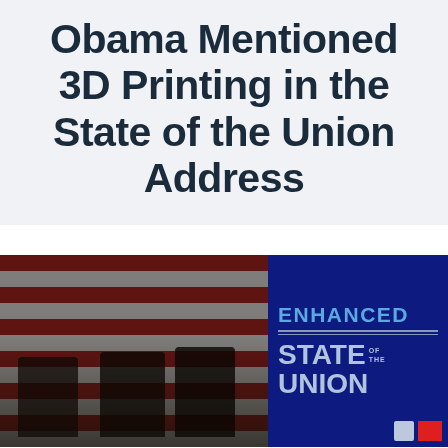Obama Mentioned 3D Printing in the State of the Union Address
[Figure (photo): Left half: photo of Obama State of the Union session with Joe Biden and John Boehner seated at a podium with American flag backdrop. Right half: dark blue graphic panel reading 'ENHANCED STATE OF THE UNION' with decorative divider lines.]